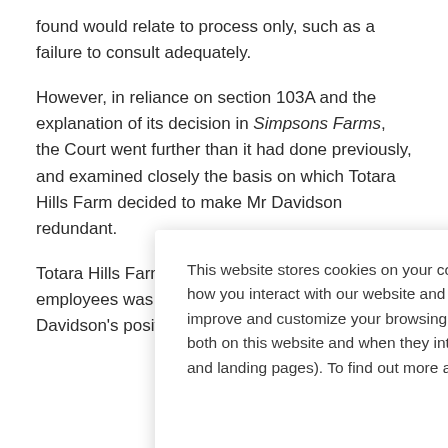found would relate to process only, such as a failure to consult adequately.
However, in reliance on section 103A and the explanation of its decision in Simpsons Farms, the Court went further than it had done previously, and examined closely the basis on which Totara Hills Farm decided to make Mr Davidson redundant.
Totara Hills Farm's written advice to its employees was that by disestablishing Mr Davidson's position and creating a
This website stores cookies on your computer. These cookies are used to collect information about how you interact with our website and allow us to remember you. We use this information in order to improve and customize your browsing experience and for analytics and metrics about our visitors both on this website and when they interact with other media from us (including email, social media and landing pages). To find out more about the cookies we use, see our Privacy Policy.
Accept